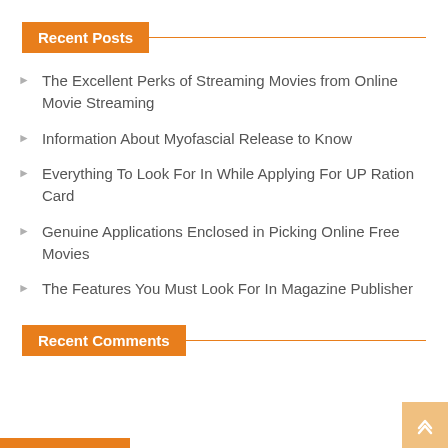Recent Posts
The Excellent Perks of Streaming Movies from Online Movie Streaming
Information About Myofascial Release to Know
Everything To Look For In While Applying For UP Ration Card
Genuine Applications Enclosed in Picking Online Free Movies
The Features You Must Look For In Magazine Publisher
Recent Comments